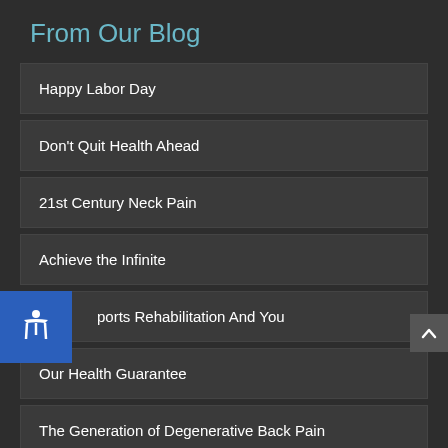From Our Blog
Happy Labor Day
Don't Quit Health Ahead
21st Century Neck Pain
Achieve the Infinite
Sports Rehabilitation And You
Our Health Guarantee
The Generation of Degenerative Back Pain